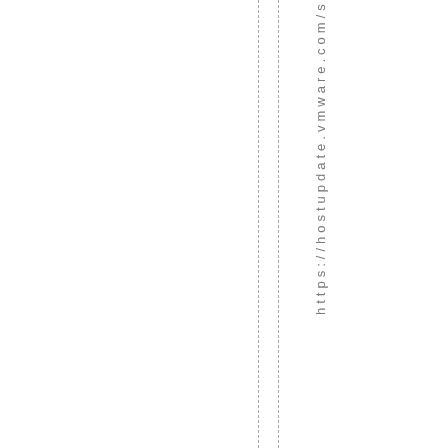https://hostupdate.vmware.com/s